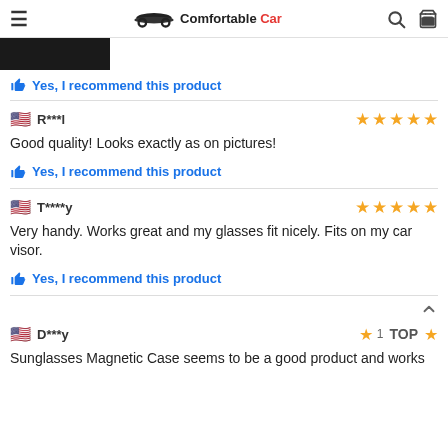Comfortable Car
[Figure (photo): Partial product image showing car interior, dark background]
👍 Yes, I recommend this product
🇺🇸 R***l — 5 stars
Good quality! Looks exactly as on pictures!
👍 Yes, I recommend this product
🇺🇸 T****y — 5 stars
Very handy. Works great and my glasses fit nicely. Fits on my car visor.
👍 Yes, I recommend this product
🇺🇸 D***y — 1 star TOP
Sunglasses Magnetic Case seems to be a good product and works